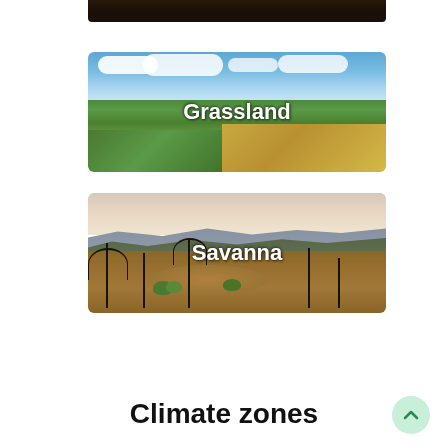[Figure (photo): Partial view of a dark forest/tree canopy image cropped at top of page]
[Figure (photo): Grassland landscape with green and golden grasses under a blue sky with clouds, labeled 'Grassland']
[Figure (photo): Savanna landscape with bare trees and sparse vegetation in front of mountains and a pale sky, labeled 'Savanna']
Climate zones